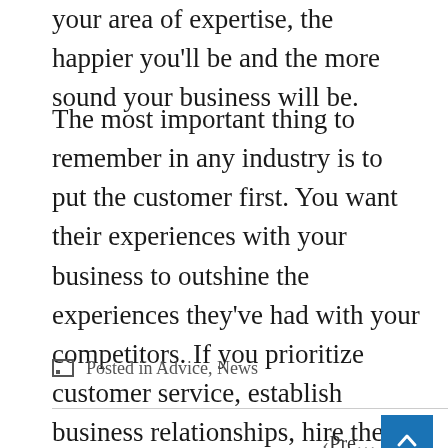your area of expertise, the happier you'll be and the more sound your business will be.
The most important thing to remember in any industry is to put the customer first. You want their experiences with your business to outshine the experiences they've had with your competitors. If you prioritize customer service, establish business relationships, hire the right people, and make smart financial decisions, your body shop will be around for a long time.
Posted in Advice, News